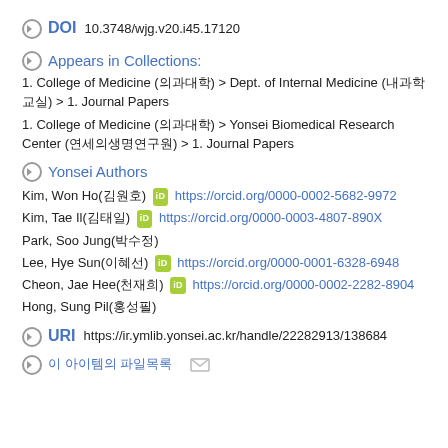DOI  10.3748/wjg.v20.i45.17120
Appears in Collections:
1. College of Medicine (의과대학) > Dept. of Internal Medicine (내과학교실) > 1. Journal Papers
1. College of Medicine (의과대학) > Yonsei Biomedical Research Center (연세의생명연구원) > 1. Journal Papers
Yonsei Authors
Kim, Won Ho(김원호) https://orcid.org/0000-0002-5682-9972
Kim, Tae Il(김태일) https://orcid.org/0000-0003-4807-890X
Park, Soo Jung(박수정)
Lee, Hye Sun(이혜선) https://orcid.org/0000-0001-6328-6948
Cheon, Jae Hee(천재희) https://orcid.org/0000-0002-2282-8904
Hong, Sung Pil(홍성필)
URI  https://ir.ymlib.yonsei.ac.kr/handle/22282913/138684
이 아이템의 파일목록